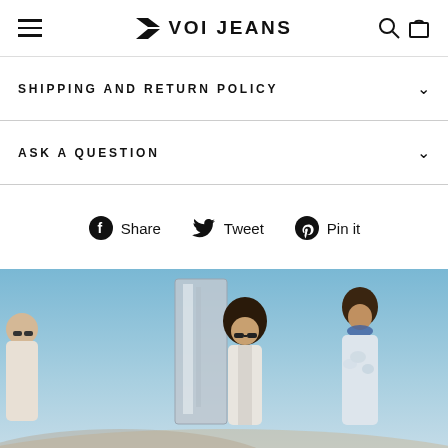VOI JEANS
SHIPPING AND RETURN POLICY
ASK A QUESTION
Share  Tweet  Pin it
[Figure (photo): Fashion photo of two men and a person posing outdoors against a blue sky backdrop, with a large reflective metallic panel. One man wears sunglasses and a light tie-dye shirt, another has curly hair and sunglasses wearing a white suit.]